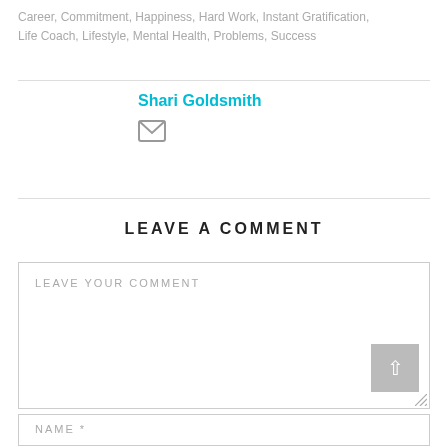Career, Commitment, Happiness, Hard Work, Instant Gratification, Life Coach, Lifestyle, Mental Health, Problems, Success
Shari Goldsmith
[Figure (other): Email envelope icon]
LEAVE A COMMENT
LEAVE YOUR COMMENT
Name *